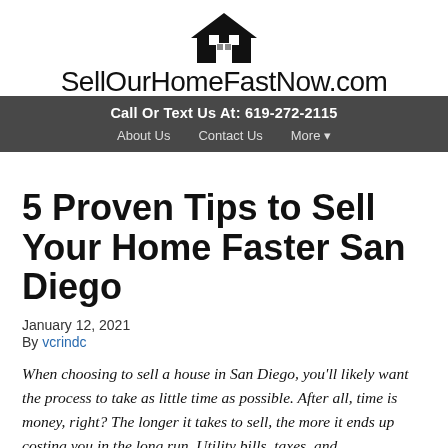SellOurHomeFastNow.com
Call Or Text Us At: 619-272-2115
About Us   Contact Us   More ▾
5 Proven Tips to Sell Your Home Faster San Diego
January 12, 2021
By vcrindc
When choosing to sell a house in San Diego, you'll likely want the process to take as little time as possible. After all, time is money, right? The longer it takes to sell, the more it ends up costing you in the long run. Utility bills, taxes, and